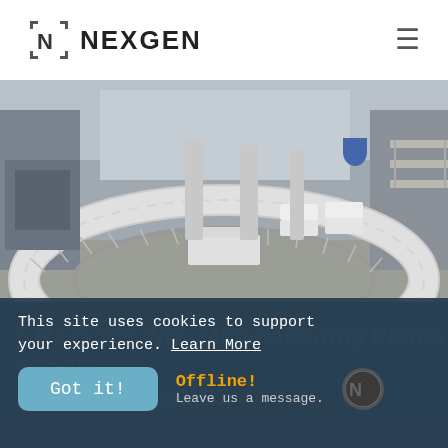[Figure (logo): NexGen logo with geometric N icon and NEXGEN wordmark, hamburger menu icon on right]
[Figure (photo): Manufacturing plant interior showing a large circular/curved conveyor belt system with roller conveyors, boxes on belt, industrial facility background]
5 Reasons Why Manufacturing Plants Should Implement CMMS
This site uses cookies to support your experience. Learn More
Got it!
Offline! Leave us a message.